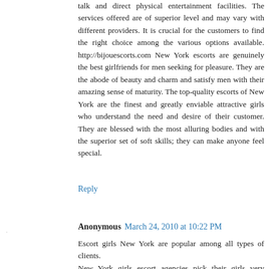talk and direct physical entertainment facilities. The services offered are of superior level and may vary with different providers. It is crucial for the customers to find the right choice among the various options available. http://bijouescorts.com New York escorts are genuinely the best girlfriends for men seeking for pleasure. They are the abode of beauty and charm and satisfy men with their amazing sense of maturity. The top-quality escorts of New York are the finest and greatly enviable attractive girls who understand the need and desire of their customer. They are blessed with the most alluring bodies and with the superior set of soft skills; they can make anyone feel special.
Reply
Anonymous March 24, 2010 at 10:22 PM
Escort girls New York are popular among all types of clients.
New York girls escort agencies pick their girls very carefully from all the hottest destinations in the world. That's the reason, they have got something special to offer to each and every client.